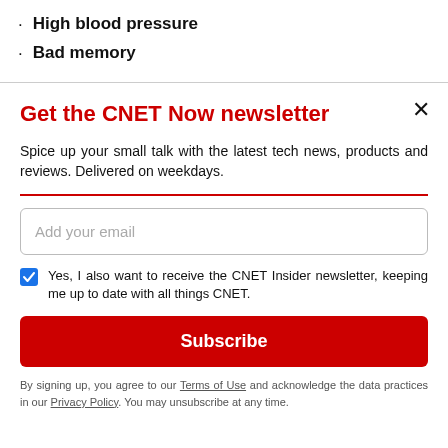High blood pressure
Bad memory
Get the CNET Now newsletter
Spice up your small talk with the latest tech news, products and reviews. Delivered on weekdays.
Add your email
Yes, I also want to receive the CNET Insider newsletter, keeping me up to date with all things CNET.
Subscribe
By signing up, you agree to our Terms of Use and acknowledge the data practices in our Privacy Policy. You may unsubscribe at any time.